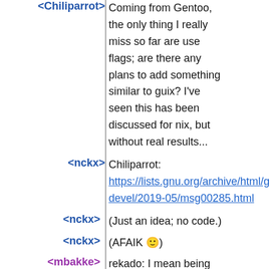| Name |  | Message |
| --- | --- | --- |
| <Chiliparrot> | | | Coming from Gentoo, the only thing I really miss so far are use flags; are there any plans to add something similar to guix? I've seen this has been discussed for nix, but without real results... |
| <nckx> | | | Chiliparrot:
https://lists.gnu.org/archive/html/guix-devel/2019-05/msg00285.html |
| <nckx> | | | (Just an idea; no code.) |
| <nckx> | | | (AFAIK 🙂) |
| <mbakke> | | | rekado: I mean being able to disable 'staging' |